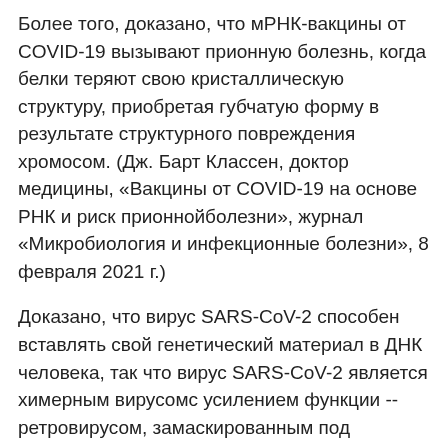Более того, доказано, что мРНК-вакцины от COVID-19 вызывают прионную болезнь, когда белки теряют свою кристаллическую структуру, приобретая губчатую форму в результате структурного повреждения хромосом. (Дж. Барт Классен, доктор медицины, «Вакцины от COVID-19 на основе РНК и риск прионнойболезни», журнал «Микробиология и инфекционные болезни», 8 февраля 2021 г.)
Доказано, что вирус SARS-CoV-2 способен вставлять свой генетический материал в ДНК человека, так что вирус SARS-CoV-2 является химерным вирусомс усилением функции -- ретровирусом, замаскированным под коронавирус. («РНК вируса SARS-CoV-2 подвергнута обратной транскрипции и интегрирована в геном человека», Лигуо Чжан, Аниста Рандалл, Оуэн Чжан Синко Ван...